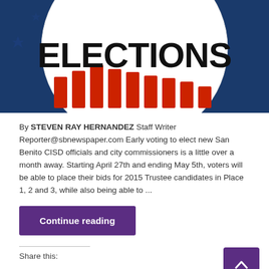[Figure (illustration): Elections badge/button with bold black 'ELECTIONS' text on white background with red stripes, set against a dark blue background]
By STEVEN RAY HERNANDEZ Staff Writer Reporter@sbnewspaper.com Early voting to elect new San Benito CISD officials and city commissioners is a little over a month away. Starting April 27th and ending May 5th, voters will be able to place their bids for 2015 Trustee candidates in Place 1, 2 and 3, while also being able to ...
Continue reading
Share this: